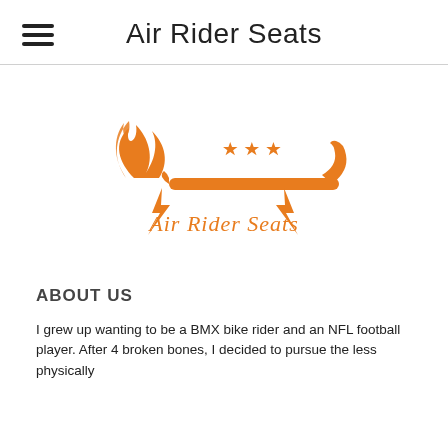Air Rider Seats
[Figure (logo): Air Rider Seats logo in orange: flame motif on left, handlebar/seat silhouette in center-right, three stars above, lightning bolts on sides, cursive text 'Air Rider Seats' below]
ABOUT US
I grew up wanting to be a BMX bike rider and an NFL football player. After 4 broken bones, I decided to pursue the less physically